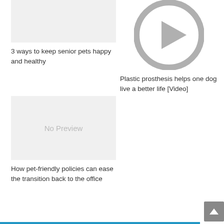[Figure (photo): Gray placeholder thumbnail image for article about senior pets]
3 ways to keep senior pets happy and healthy
[Figure (other): Gray circular video play button icon]
Plastic prosthesis helps one dog live a better life [Video]
[Figure (other): No Preview placeholder image]
How pet-friendly policies can ease the transition back to the office